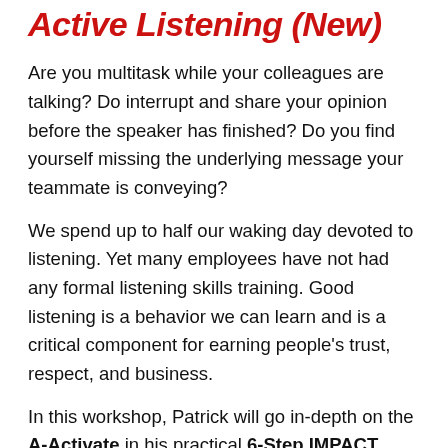Active Listening (New)
Are you multitask while your colleagues are talking? Do interrupt and share your opinion before the speaker has finished? Do you find yourself missing the underlying message your teammate is conveying?
We spend up to half our waking day devoted to listening. Yet many employees have not had any formal listening skills training. Good listening is a behavior we can learn and is a critical component for earning people’s trust, respect, and business.
In this workshop, Patrick will go in-depth on the A-Activate in his practical 6-Step IMPACT